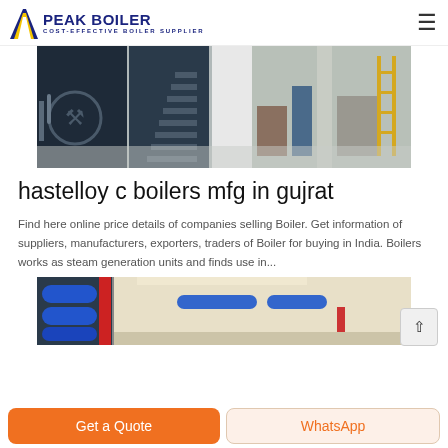PEAK BOILER — COST-EFFECTIVE BOILER SUPPLIER
[Figure (photo): Industrial boiler room interior showing large boilers, metal staircases, pipes and equipment in a facility]
hastelloy c boilers mfg in gujrat
Find here online price details of companies selling Boiler. Get information of suppliers, manufacturers, exporters, traders of Boiler for buying in India. Boilers works as steam generation units and finds use in...
[Figure (photo): Industrial piping system with blue insulated pipes and red pipes in what appears to be a boiler or HVAC installation facility]